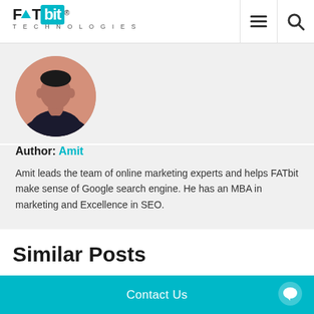FATbit TECHNOLOGIES
[Figure (photo): Circular profile photo of author Amit, a young man in a dark shirt against a pink background]
Author: Amit
Amit leads the team of online marketing experts and helps FATbit make sense of Google search engine. He has an MBA in marketing and Excellence in SEO.
Similar Posts
Contact Us